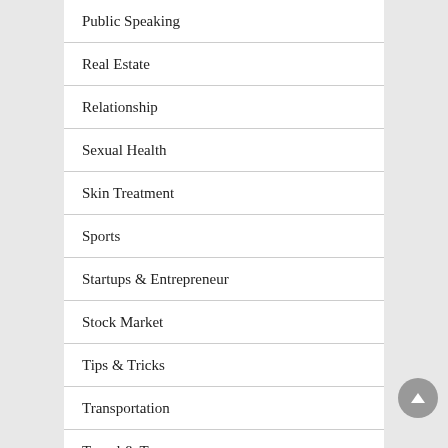Public Speaking
Real Estate
Relationship
Sexual Health
Skin Treatment
Sports
Startups & Entrepreneur
Stock Market
Tips & Tricks
Transportation
Travel & Tour
Weather & Climate